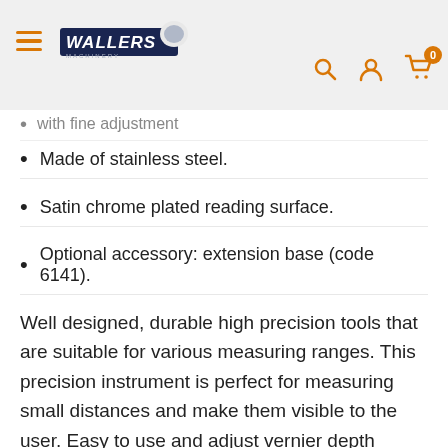Wallers Machinery — navigation header with hamburger menu, logo, search, account, and cart icons
with fine adjustment
Made of stainless steel.
Satin chrome plated reading surface.
Optional accessory: extension base (code 6141).
Well designed, durable high precision tools that are suitable for various measuring ranges. This precision instrument is perfect for measuring small distances and make them visible to the user. Easy to use and adjust vernier depth gauge for making accurate